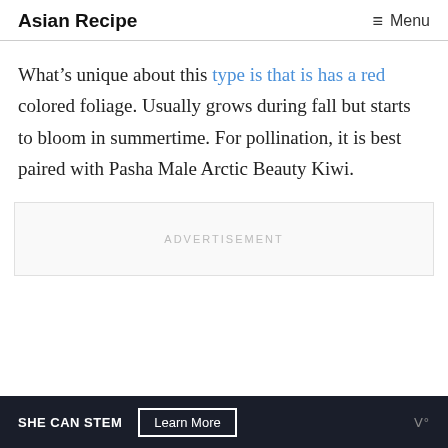Asian Recipe   ≡ Menu
What’s unique about this type is that is has a red colored foliage. Usually grows during fall but starts to bloom in summertime. For pollination, it is best paired with Pasha Male Arctic Beauty Kiwi.
[Figure (other): Advertisement placeholder box]
SHE CAN STEM   Learn More